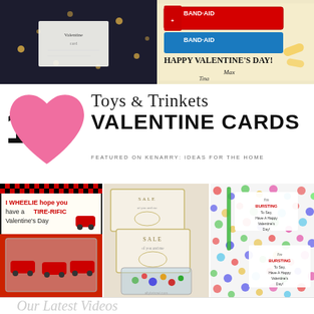[Figure (photo): Top left: card on dark background with gold confetti dots]
[Figure (photo): Top right: Band-Aid branded Valentine's Day card held by hand, reading HAPPY VALENTINE'S DAY with names Max and Tina]
10 Toys & Trinkets VALENTINE CARDS
FEATURED ON KENARRY: IDEAS FOR THE HOME
[Figure (photo): Bottom left: I WHEELIE hope you have a TIRE-RIFIC Valentine's Day card with toy cars]
[Figure (photo): Bottom center: SALE valentine card with small toys/marbles in plastic bag]
[Figure (photo): Bottom right: I'm BURSTING To Say, Have A Happy Valentine's Day card on colorful polka dot background with green candy sticks]
Our Latest Videos